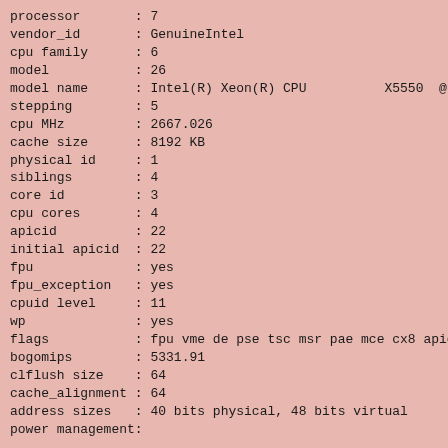processor       : 7
vendor_id       : GenuineIntel
cpu family      : 6
model           : 26
model name      : Intel(R) Xeon(R) CPU          X5550  @ 2.6
stepping        : 5
cpu MHz         : 2667.026
cache size      : 8192 KB
physical id     : 1
siblings        : 4
core id         : 3
cpu cores       : 4
apicid          : 22
initial apicid  : 22
fpu             : yes
fpu_exception   : yes
cpuid level     : 11
wp              : yes
flags           : fpu vme de pse tsc msr pae mce cx8 apic mtr
bogomips        : 5331.91
clflush size    : 64
cache_alignment : 64
address sizes   : 40 bits physical, 48 bits virtual
power management:


/proc/meminfo:
MemTotal:           32873648 kB
MemFree:            27127408 kB
Buffers:              543136 kB
Cached:             3516488 kB